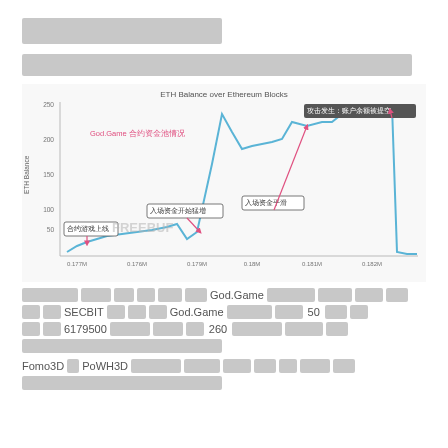□□□□□□□□□□□□□
□□□□□□□□□□□□□□□243□□□□□□□□□□□□□
[Figure (continuous-plot): Line chart showing ETH Balance over Ethereum Blocks for God.Game contract. Annotations in Chinese: 合约游戏上线 (contract game online), 入场资金开始猛增 (entry funds start surging), 入场资金平滑 (entry funds smooth), 攻击发生：账户余额被提空 (attack occurred: account balance drained). Pink annotation boxes with arrows. X-axis shows block numbers from 0.177M to 0.102M. Y-axis shows ETH Balance from 0 to 250. Watermark: FREEBUF.]
□□□□□□□□□□□□□□□□□□□□God.Game□□□□□□□□□□□□□□□□□□□□□□□□
□□□□SECBIT□□□□□□God.Game□□□□□□□□□□□□□□□□ 50 □□□□
□□□□6179500□□□□□□□□□□□□□□260□□□□□□□□□□□□□□□□□□□□
□□□□□□□□□□□□□□□□□□□□□□□□
□□Fomo3D□□PoWH3D□□□□□□□□□□□□□□□□□□□□□□□□□□□□□□□□□□□□□□□□□□□□□□□□